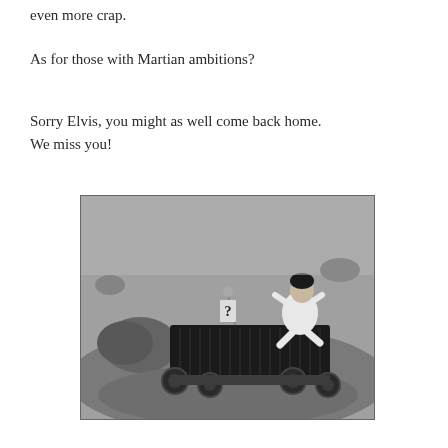even more crap.
As for those with Martian ambitions?
Sorry Elvis, you might as well come back home. We miss you!
[Figure (photo): Black and white photograph showing a person in a white jumpsuit sitting on top of a large wheeled robotic rover on a rocky, barren surface resembling Mars or the Moon. There is a small question mark sign visible near the rover.]